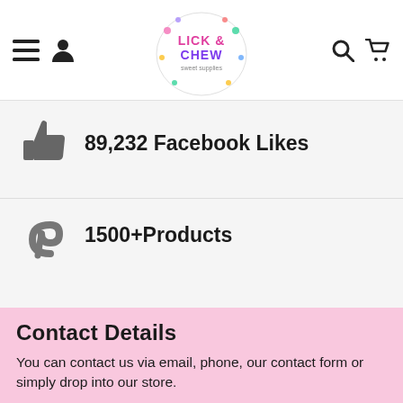Lick & Chew Sweet Supplies — navigation header with menu, user, logo, search, cart icons
89,232 Facebook Likes
1500+Products
Contact Details
You can contact us via email, phone, our contact form or simply drop into our store.
@ info@lickandchewsweetsupplies.co.uk